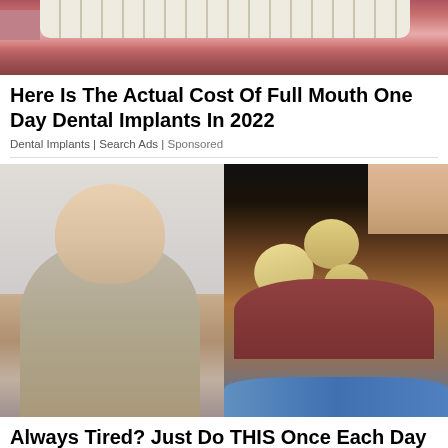[Figure (photo): Close-up photo of a mouth showing teeth and gums]
Here Is The Actual Cost Of Full Mouth One Day Dental Implants In 2022
Dental Implants | Search Ads | Sponsored
[Figure (photo): Composite image of an older doctor in a suit pointing at a dental model of teeth being handled, with a clinic hallway background]
Always Tired? Just Do THIS Once Each Day (Takes About 2 Minutes)